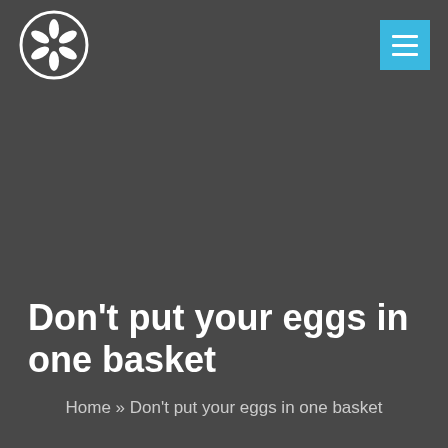[Figure (logo): White flower/asterisk logo inside a white circle outline on dark background]
[Figure (other): Cyan/light-blue square button with three horizontal white lines (hamburger menu icon)]
Don't put your eggs in one basket
Home » Don't put your eggs in one basket